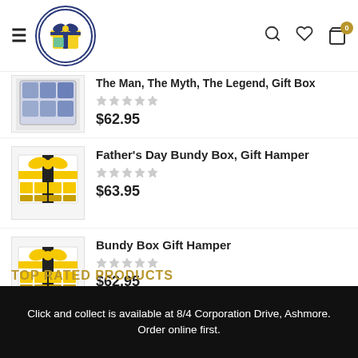[Figure (logo): GC Gift Boxes and Hampers circular logo with yellow and blue gift box illustration]
The Man, The Myth, The Legend, Gift Box
$62.95
Father's Day Bundy Box, Gift Hamper
$63.95
Bundy Box Gift Hamper
$62.95
TOP RATED PRODUCTS
Click and collect is available at 8/4 Corporation Drive, Ashmore. Order online first.